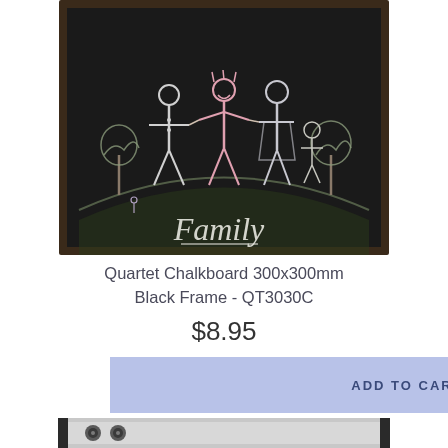[Figure (photo): A chalkboard with chalk drawings of a family (stick figures of adults and children holding hands), trees, and the word 'Family' written in chalk. The board has a dark brown/black frame.]
Quartet Chalkboard 300x300mm Black Frame - QT3030C
$8.95
ADD TO CART
[Figure (photo): Bottom portion of a silver/aluminum framed board product with dark border, showing two circular mounting screws/elements on the left side.]